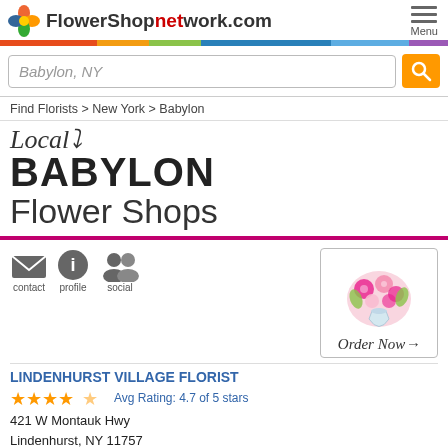FlowerShopnetwork.com
Babylon, NY
Find Florists > New York > Babylon
Local BABYLON Flower Shops
contact  profile  social
LINDENHURST VILLAGE FLORIST
Avg Rating: 4.7 of 5 stars
421 W Montauk Hwy
Lindenhurst, NY 11757
Hours: Closed today
[Figure (photo): Flower arrangement photo in order-now box with 'Order Now' script text]
(631) 226-3884